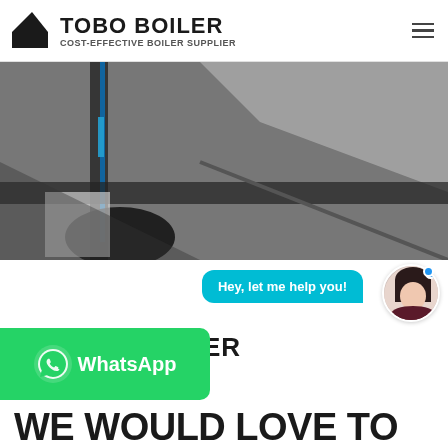TOBO BOILER — COST-EFFECTIVE BOILER SUPPLIER
[Figure (photo): Close-up photo of industrial boiler machinery/pipes, grayscale, blurred]
Hey, let me help you!
[Figure (photo): Avatar of a smiling woman with dark hair, circular crop]
[Figure (logo): TOBO BOILER logo with tagline COST-EFFECTIVE BOILER SUPPLIER]
[Figure (logo): WhatsApp button with WhatsApp icon and text 'WhatsApp']
WE WOULD LOVE TO